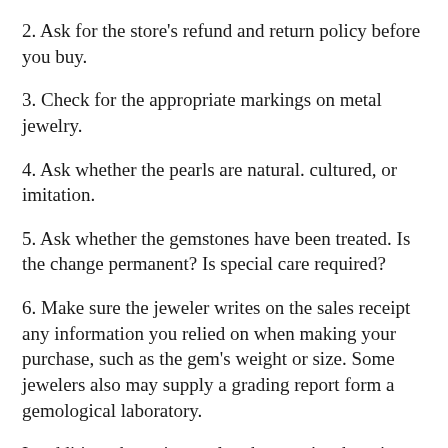2. Ask for the store's refund and return policy before you buy.
3. Check for the appropriate markings on metal jewelry.
4. Ask whether the pearls are natural. cultured, or imitation.
5. Ask whether the gemstones have been treated. Is the change permanent? Is special care required?
6. Make sure the jeweler writes on the sales receipt any information you relied on when making your purchase, such as the gem's weight or size. Some jewelers also may supply a grading report form a gemological laboratory.
In addition, these tips apply when you're shopping for jewelry online: